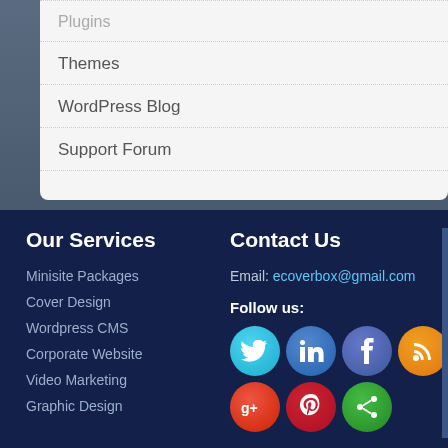Plugins
Themes
WordPress Blog
Support Forum
Our Services
Minisite Packages
Cover Design
Wordpress CMS
Corporate Website
Video Marketing
Graphic Design
Contact Us
Email: ecoverbox@gmail.com
Follow us:
[Figure (infographic): Social media icons: Twitter (blue), LinkedIn (blue), Facebook (dark blue), RSS (orange), Google+ (red), Pinterest (red), Share (green)]